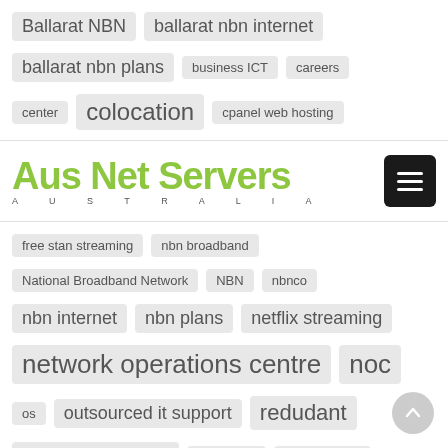[Figure (screenshot): Aus Net Servers Australia website tag cloud page showing navigation tags/keywords in various sizes and a header with the company logo and hamburger menu. Tags include: Ballarat NBN, ballarat nbn internet, ballarat nbn plans, business ICT, careers, center, colocation, cpanel web hosting, free stan streaming, nbn broadband, National Broadband Network, NBN, nbnco, nbn internet, nbn plans, netflix streaming, network operations centre, noc, os, outsourced it support, redudant, remote hands, reseller, sip trunks, stan streaming, terms of service, tos, vps, vps servers, web hosting, windows, wordpress hosting, work for us]